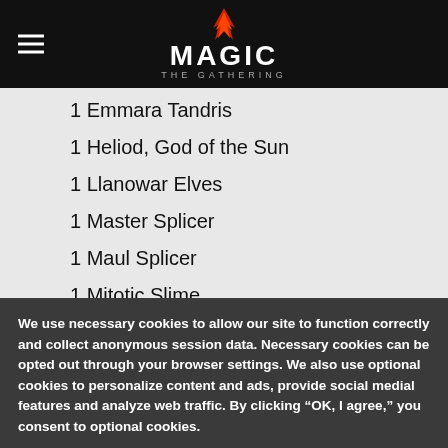Magic: The Gathering
1  Emmara Tandris
1  Heliod, God of the Sun
1  Llanowar Elves
1  Master Splicer
1  Maul Splicer
1  Mitotic Slime
1  Odric, Master Tactician
1  Ondu Giant
1  Penumbra Spider
1  Phantom General
We use necessary cookies to allow our site to function correctly and collect anonymous session data. Necessary cookies can be opted out through your browser settings. We also use optional cookies to personalize content and ads, provide social medial features and analyze web traffic. By clicking “OK, I agree,” you consent to optional cookies. (Learn more about cookies.)